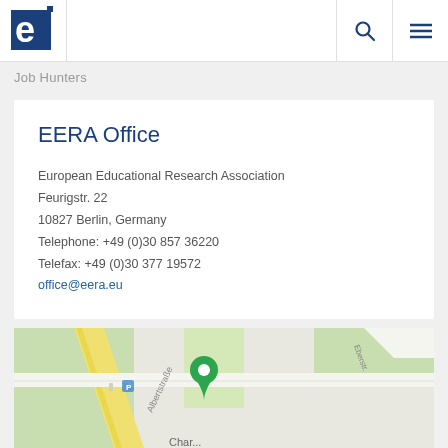[Figure (logo): EERA logo - letter e on blue background]
Job Hunters
EERA Office
European Educational Research Association
Feurigstr. 22
10827 Berlin, Germany
Telephone: +49 (0)30 857 36220
Telefax: +49 (0)30 377 19572
office@eera.eu
[Figure (map): Google Maps view showing the location of EERA office in Berlin, Germany with a green pin marker]